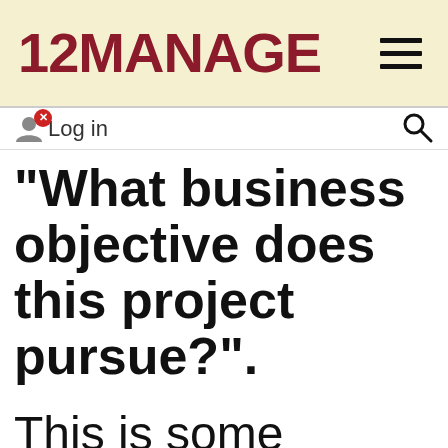12MANAGE
"What business objective does this project pursue?".
This is some advice for presenting your project at the right time to the